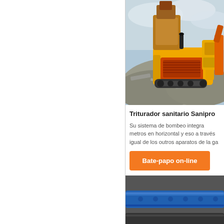[Figure (photo): Yellow industrial shredder/crusher machine on a mound of shredded metal scrap outdoors]
Triturador sanitario Sanipro
Su sistema de bombeo integra metros en horizontal y eso a través igual de los otros aparatos de la ga
Bate-papo on-line
[Figure (photo): Close-up of blue pipes or tubes in an industrial setting]